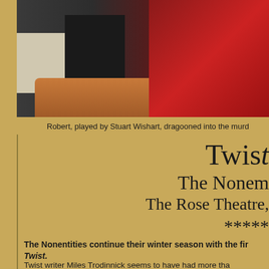[Figure (photo): Theatre stage photo showing a person standing in dark clothing with legs visible, a wooden table in the foreground, and a red leather sofa/armchair to the right, with a fireplace or light-colored wall in the background.]
Robert, played by Stuart Wishart, dragooned into the murd
Twist
The Nonem
The Rose Theatre,
*****
The Nonentities continue their winter season with the fir Twist.
Twist writer Miles Trodinnick seems to have had more tha